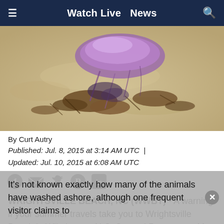≡  Watch Live  News  🔍
[Figure (photo): A Portuguese Man O' War jellyfish-like creature with a purple/pink float washed up on sandy beach with seaweed and debris]
By Curt Autry
Published: Jul. 8, 2015 at 3:14 AM UTC  |  Updated: Jul. 10, 2015 at 6:08 AM UTC
[Figure (infographic): Social media share icons: Facebook, Email, Twitter, Pinterest, LinkedIn]
WRIGHTSVILLE BEACH, NC (WWBT) - A warning if your summer travels take you to Wrightsville Beach in Wilmington, N.C. Several Portuguese Men O' War have washed up on a North Carolina beach.
It's not known exactly how many of the animals have washed ashore, although one frequent visitor claims to